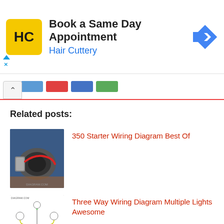[Figure (other): Hair Cuttery advertisement banner with HC logo and navigation arrow icon. Text: 'Book a Same Day Appointment' and 'Hair Cuttery']
Related posts:
[Figure (photo): Photo of a car starter motor/engine component with red wires]
350 Starter Wiring Diagram Best Of
[Figure (schematic): Three way wiring diagram showing multiple lights with yellow and green wires]
Three Way Wiring Diagram Multiple Lights Awesome
[Figure (photo): Photo of Leviton Osc20 M0w device, white circular component]
Leviton Osc20 M0w Wiring Diagram Unique